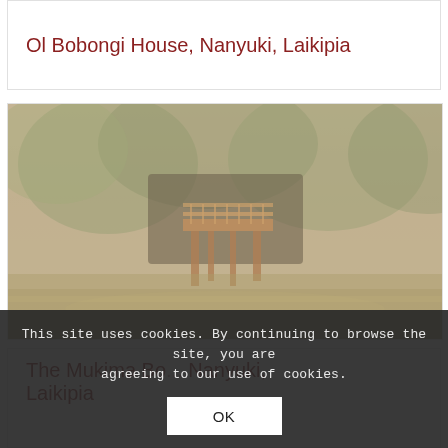Ol Bobongi House, Nanyuki, Laikipia
[Figure (photo): A faded photograph of a treehouse or elevated wooden structure surrounded by trees and greenery, taken from across a body of water or open ground. The image has a warm, washed-out tone.]
The Mukima Bo... Nanyuki, Laikipia
This site uses cookies. By continuing to browse the site, you are agreeing to our use of cookies.
OK